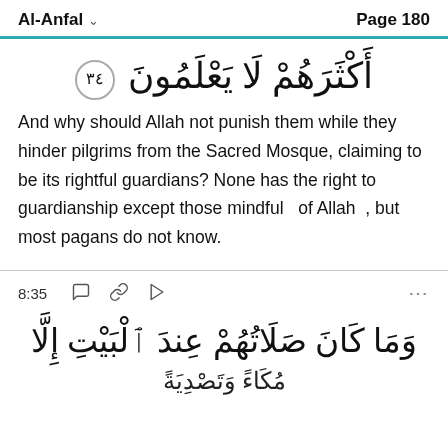Al-Anfal  Page 180
أَكْثَرَهُمْ لَا يَعْلَمُونَ ٣٤
And why should Allah not punish them while they hinder pilgrims from the Sacred Mosque, claiming to be its rightful guardians? None has the right to guardianship except those mindful of Allah , but most pagans do not know.
8:35
وَمَا كَانَ صَلَاتُهُمْ عِندَ الْبَيْتِ إِلَّا